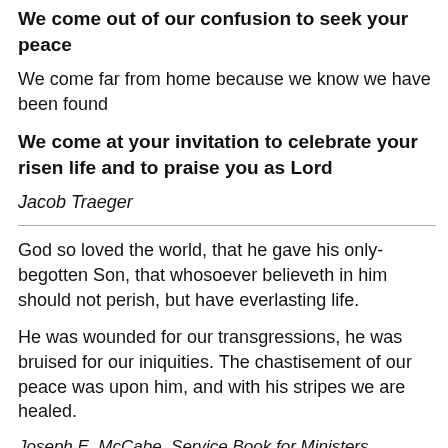We come out of our confusion to seek your peace
We come far from home because we know we have been found
We come at your invitation to celebrate your risen life and to praise you as Lord
Jacob Traeger
God so loved the world, that he gave his only-begotten Son, that whosoever believeth in him should not perish, but have everlasting life.
He was wounded for our transgressions, he was bruised for our iniquities. The chastisement of our peace was upon him, and with his stripes we are healed.
Joseph E. McCabe, Service Book for Ministers